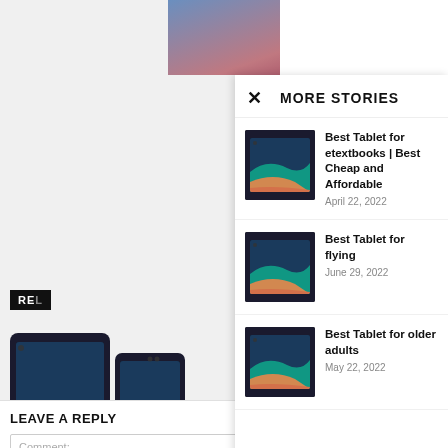[Figure (photo): Partial view of a person in a blue suit at the top of the page]
MORE STORIES
[Figure (photo): Tablet device showing colorful wave design]
Best Tablet for etextbooks | Best Cheap and Affordable
April 22, 2022
[Figure (photo): Tablet device showing colorful wave design]
Best Tablet for flying
June 29, 2022
[Figure (photo): Tablet device showing colorful wave design]
Best Tablet for older adults
May 22, 2022
[Figure (photo): Tablet device on left side of page]
Best Tablets
Best tablet for exe... bike
LEAVE A REPLY
Comment: